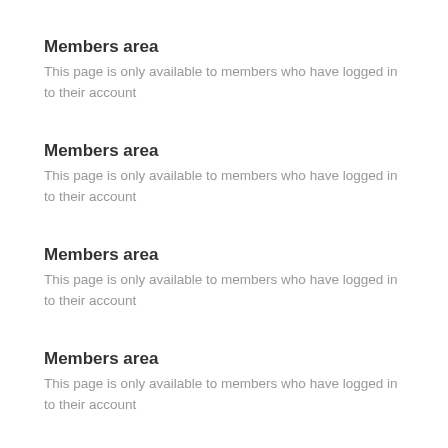Members area
This page is only available to members who have logged in to their account
Members area
This page is only available to members who have logged in to their account
Members area
This page is only available to members who have logged in to their account
Members area
This page is only available to members who have logged in to their account